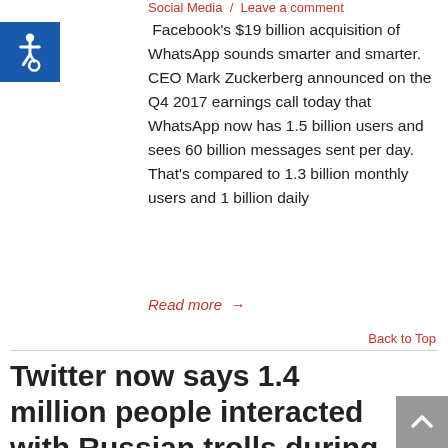Social Media  /  Leave a comment
[Figure (logo): Accessibility icon — white wheelchair symbol on blue square background]
Facebook's $19 billion acquisition of WhatsApp sounds smarter and smarter. CEO Mark Zuckerberg announced on the Q4 2017 earnings call today that WhatsApp now has 1.5 billion users and sees 60 billion messages sent per day. That's compared to 1.3 billion monthly users and 1 billion daily
Read more →
Back to Top
Twitter now says 1.4 million people interacted with Russian trolls during 2016 presidential